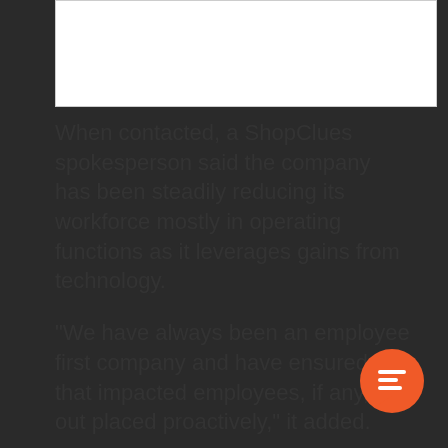[Figure (other): White rectangular box at the top of the page]
When contacted, a ShopClues spokesperson said the company has been steadily reducing its workforce mostly in operating functions as it leverages gains from technology.
"We have always been an employee first company and have ensured that impacted employees, if any, are out placed proactively," it added.
Recently, ShopClues was in talks with larger rival Snapdeal for a potential acquisition.
[Figure (illustration): Orange circular chat/feedback button icon in the bottom right corner]